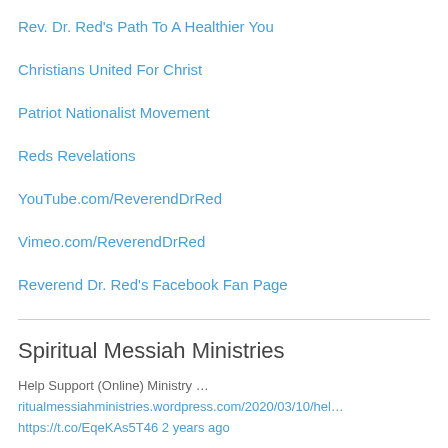Rev. Dr. Red's Path To A Healthier You
Christians United For Christ
Patriot Nationalist Movement
Reds Revelations
YouTube.com/ReverendDrRed
Vimeo.com/ReverendDrRed
Reverend Dr. Red's Facebook Fan Page
Spiritual Messiah Ministries
Help Support (Online) Ministry …
ritualmessiahministries.wordpress.com/2020/03/10/hel…
https://t.co/EqeKAs5T46 2 years ago
Help Support (Online) Ministry…